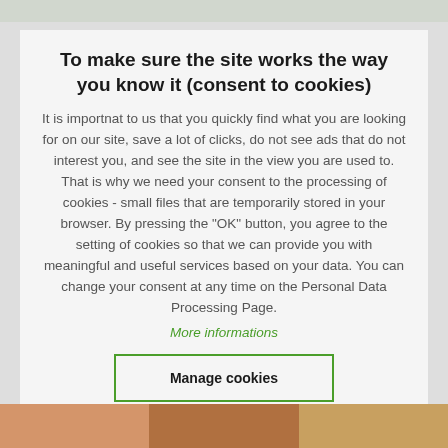To make sure the site works the way you know it (consent to cookies)
It is importnat to us that you quickly find what you are looking for on our site, save a lot of clicks, do not see ads that do not interest you, and see the site in the view you are used to. That is why we need your consent to the processing of cookies - small files that are temporarily stored in your browser. By pressing the "OK" button, you agree to the setting of cookies so that we can provide you with meaningful and useful services based on your data. You can change your consent at any time on the Personal Data Processing Page.
More informations
Manage cookies
✓ OK